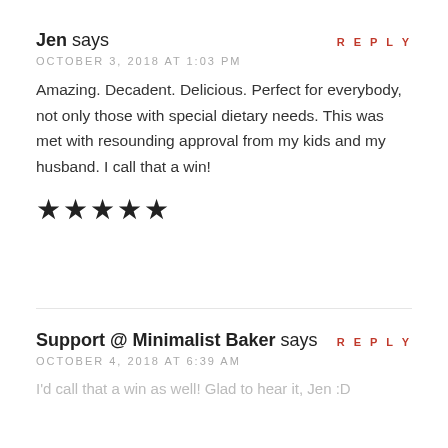REPLY
Jen says
OCTOBER 3, 2018 AT 1:03 PM
Amazing. Decadent. Delicious. Perfect for everybody, not only those with special dietary needs. This was met with resounding approval from my kids and my husband. I call that a win!
[Figure (other): Five filled black stars representing a 5-star rating]
REPLY
Support @ Minimalist Baker says
OCTOBER 4, 2018 AT 6:39 AM
I'd call that a win as well! Glad to hear it, Jen :D